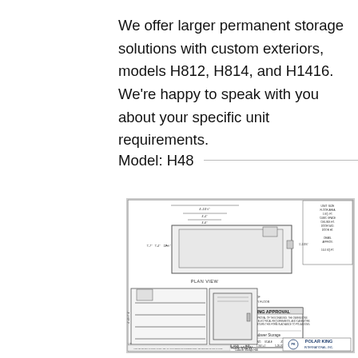We offer larger permanent storage solutions with custom exteriors, models H812, H814, and H1416. We're happy to speak with you about your specific unit requirements.
Model: H48
[Figure (engineering-diagram): Engineering drawing for Polar King International Cadaver Storage model H48, showing Plan View (top), Section View (lower left), and Elevation View (lower right), with dimension annotations and a Drawing Approval block in the lower right corner. Title block reads 'Cadaver Storage' and 'Polar King International, Inc.']